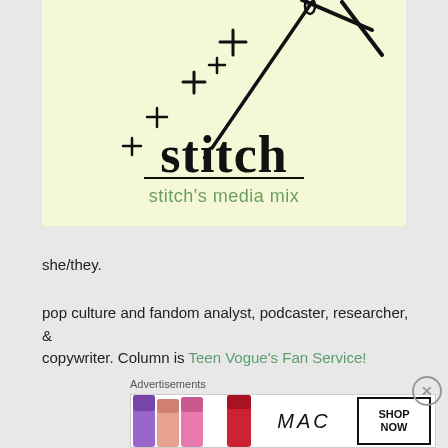[Figure (logo): Stitch blog logo on a light yellow-green background. Features a needle and decorative plus/star marks, the word 'stitch' in large bold serif font with an underline, and 'stitch's media mix' in green below.]
she/they.
pop culture and fandom analyst, podcaster, researcher, & copywriter. Column is Teen Vogue's Fan Service!
Advertisements
[Figure (screenshot): MAC cosmetics advertisement showing colorful lipsticks on the left, MAC logo in the center, and a 'SHOP NOW' button in a box on the right.]